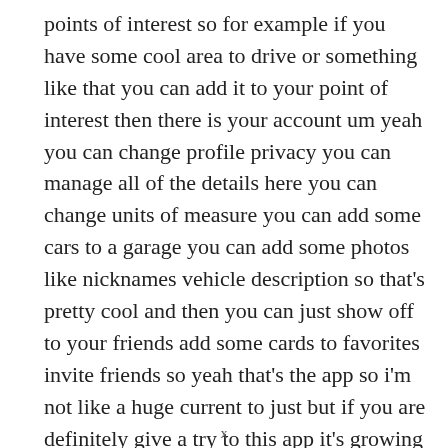points of interest so for example if you have some cool area to drive or something like that you can add it to your point of interest then there is your account um yeah you can change profile privacy you can manage all of the details here you can change units of measure you can add some cars to a garage you can add some photos like nicknames vehicle description so that's pretty cool and then you can just show off to your friends add some cards to favorites invite friends so yeah that's the app so i'm not like a huge current to just but if you are definitely give a try to this app it's growing in charts and social media and there are more and
x